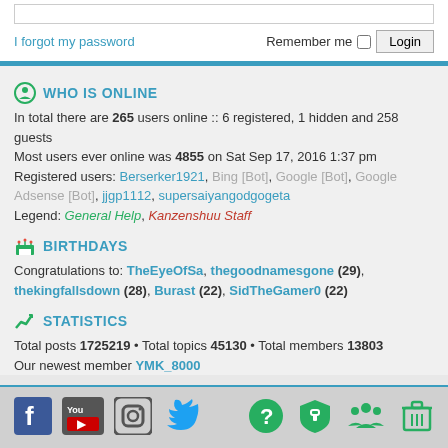I forgot my password   Remember me [ ] Login
WHO IS ONLINE
In total there are 265 users online :: 6 registered, 1 hidden and 258 guests
Most users ever online was 4855 on Sat Sep 17, 2016 1:37 pm
Registered users: Berserker1921, Bing [Bot], Google [Bot], Google Adsense [Bot], jjgp1112, supersaiyangodgogeta
Legend: General Help, Kanzenshuu Staff
BIRTHDAYS
Congratulations to: TheEyeOfSa, thegoodnamesgone (29), thekingfallsdown (28), Burast (22), SidTheGamer0 (22)
STATISTICS
Total posts 1725219 • Total topics 45130 • Total members 13803
Our newest member YMK_8000
ProLight Style by Ian Bradley. Modified by Hujio.
Powered by phpBB® Forum Software © phpBB Limited
Privacy | Terms | Forum Rules